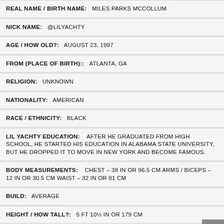REAL NAME / BIRTH NAME: MILES PARKS MCCOLLUM
NICK NAME: @LILYACHTY
AGE / HOW OLD?: AUGUST 23, 1997
FROM (PLACE OF BIRTH):: ATLANTA, GA
RELIGION: UNKNOWN
NATIONALITY: AMERICAN
RACE / ETHNICITY: BLACK
LIL YACHTY EDUCATION: AFTER HE GRADUATED FROM HIGH SCHOOL, HE STARTED HIS EDUCATION IN ALABAMA STATE UNIVERSITY, BUT HE DROPPED IT TO MOVE IN NEW YORK AND BECOME FAMOUS.
BODY MEASUREMENTS: CHEST – 38 IN OR 96.5 CM ARMS / BICEPS – 12 IN OR 30.5 CM WAIST – 32 IN OR 81 CM
BUILD: AVERAGE
HEIGHT / HOW TALL?: 5 FT 10½ IN OR 179 CM
WEIGHT: 73 KG OR 161 LBS